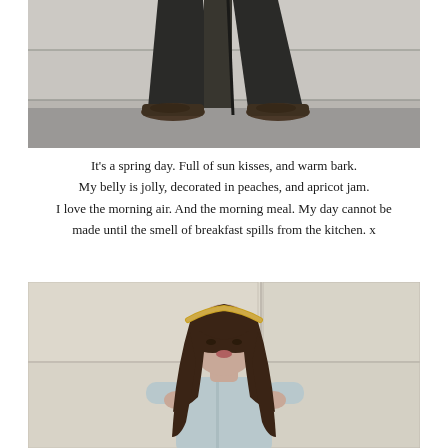[Figure (photo): Black and white photo showing the lower half of a person's legs wearing wide-leg dark trousers and brown oxford shoes, standing on a concrete surface in front of a white garage door.]
It's a spring day. Full of sun kisses, and warm bark.
My belly is jolly, decorated in peaches, and apricot jam.
I love the morning air. And the morning meal. My day cannot be made until the smell of breakfast spills from the kitchen. x
[Figure (photo): Color photo of a young woman with long dark brown hair and bangs, wearing a floral/golden headband and a light blue button-down shirt, standing in front of white garage doors, looking downward while holding her hair.]